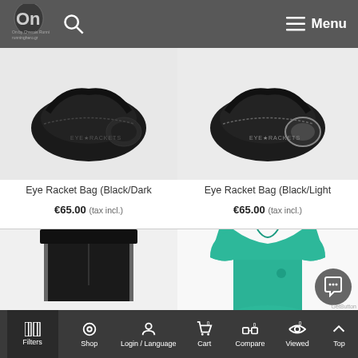On (running brand) - runninghero.gr | Menu
[Figure (photo): Eye Racket Bag Black/Dark color product photo on light grey background]
Eye Racket Bag (Black/Dark
€65.00 (tax incl.)
[Figure (photo): Eye Racket Bag Black/Light color product photo on light grey background]
Eye Racket Bag (Black/Light
€65.00 (tax incl.)
[Figure (photo): Black shorts/pants partial product image on light grey background]
[Figure (photo): Teal/green polo shirt partial product image on white background]
Filters | Shop | Login / Language | Cart 0 | Compare 0 | Viewed 0 | Top